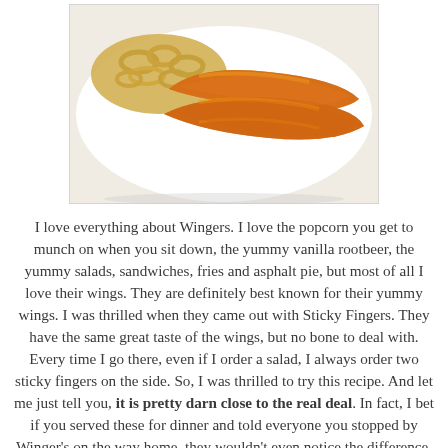[Figure (photo): A plate of glazed sticky chicken fingers with curly fries on a white background]
I love everything about Wingers.  I love the popcorn you get to munch on when you sit down, the yummy vanilla rootbeer, the yummy salads, sandwiches, fries and asphalt pie, but most of all I love their wings.  They are definitely best known for their yummy wings.  I was thrilled when they came out with Sticky Fingers.  They have the same great taste of the wings, but no bone to deal with.  Every time I go there, even if I order a salad, I always order two sticky fingers on the side.  So, I was thrilled to try this recipe.  And let me just tell you, it is pretty darn close to the real deal.  In fact, I bet if you served these for dinner and told everyone you stopped by Winger's on the way home, they wouldn't even notice the difference.  This recipe is definitely a keeper!  It is spicy yet sweet.  So yummy.  Now, you can have Winger's anytime you want.  I made five sticky fingers and served with curly fries.  I did double the sauce recipe and I had plenty for